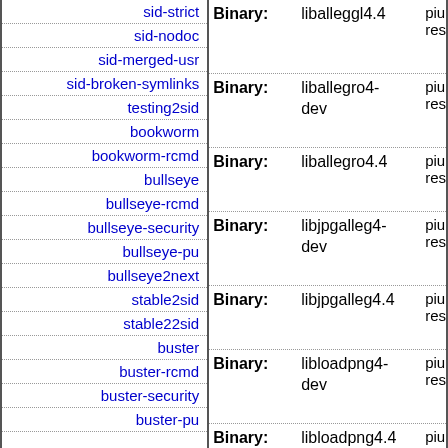| Distribution | Type | Package | Info |
| --- | --- | --- | --- |
| sid-strict |  |  |  |
| sid-nodoc |  |  |  |
| sid-merged-usr | Binary: | liballegro4-dev | piu res |
| sid-broken-symlinks |  |  |  |
| testing2sid | Binary: | liballegro4.4 | piu res |
| bookworm |  |  |  |
| bookworm-rcmd | Binary: | libjpgalleg4-dev | piu res |
| bullseye |  |  |  |
| bullseye-rcmd | Binary: | libjpgalleg4.4 | piu res |
| bullseye-security |  |  |  |
| bullseye-pu | Binary: | libloadpng4-dev | piu res |
| bullseye2next |  |  |  |
| stable2sid | Binary: | libloadpng4.4 | piu res |
| stable22sid |  |  |  |
| buster | Binary: | liblogg4-dev | piu |
| buster-rcmd |  |  |  |
| buster-security |  |  |  |
| buster-pu |  |  |  |